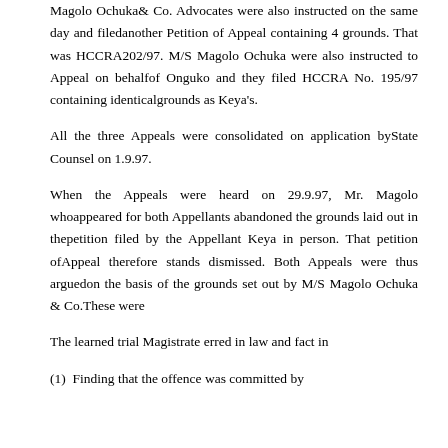Magolo Ochuka& Co. Advocates were also instructed on the same day and filedanother Petition of Appeal containing 4 grounds. That was HCCRA202/97. M/S Magolo Ochuka were also instructed to Appeal on behalfof Onguko and they filed HCCRA No. 195/97 containing identicalgrounds as Keya's.
All the three Appeals were consolidated on application byState Counsel on 1.9.97.
When the Appeals were heard on 29.9.97, Mr. Magolo whoappeared for both Appellants abandoned the grounds laid out in thepetition filed by the Appellant Keya in person. That petition ofAppeal therefore stands dismissed. Both Appeals were thus arguedon the basis of the grounds set out by M/S Magolo Ochuka & Co.These were
The learned trial Magistrate erred in law and fact in
(1)  Finding that the offence was committed by